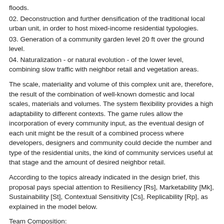floods.
02. Deconstruction and further densification of the traditional local urban unit, in order to host mixed-income residential typologies.
03. Generation of a community garden level 20 ft over the ground level.
04. Naturalization - or natural evolution - of the lower level, combining slow traffic with neighbor retail and vegetation areas.
The scale, materiality and volume of this complex unit are, therefore, the result of the combination of well-known domestic and local scales, materials and volumes. The system flexibility provides a high adaptability to different contexts. The game rules allow the incorporation of every community input, as the eventual design of each unit might be the result of a combined process where developers, designers and community could decide the number and type of the residential units, the kind of community services useful at that stage and the amount of desired neighbor retail.
According to the topics already indicated in the design brief, this proposal pays special attention to Resiliency [Rs], Marketability [Mk], Sustainability [St], Contextual Sensitivity [Cs], Replicability [Rp], as explained in the model below.
Team Composition:
Pablo Oriol, Architect
Fernando Rodriguez, Architect